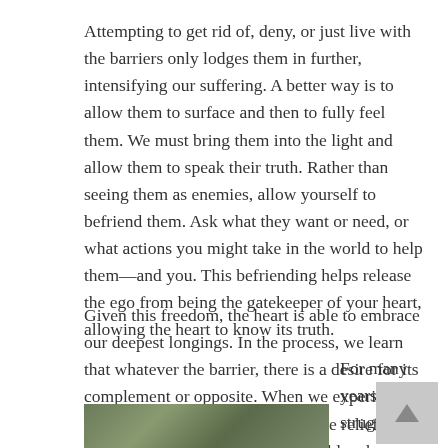Attempting to get rid of, deny, or just live with the barriers only lodges them in further, intensifying our suffering. A better way is to allow them to surface and then to fully feel them. We must bring them into the light and allow them to speak their truth. Rather than seeing them as enemies, allow yourself to befriend them. Ask what they want or need, or what actions you might take in the world to help them—and you. This befriending helps release the ego from being the gatekeeper of your heart, allowing the heart to know its truth.
Given this freedom, the heart is able to embrace our deepest longings. In the process, we learn that whatever the barrier, there is a desire for its complement or opposite. When we experience pain or frustration, we deeply desire relief or satisfaction. Food is more pleasurable when we are hungry. A tender touch or compassionate ear is most welcomed when we feel depleted or alone. Becoming conscious of what we don't want in life paradoxically provides clarity about what we truly desire.
[Figure (photo): Partial view of a nature/forest scene at the bottom left of the page, cropped]
For many years I struggled to